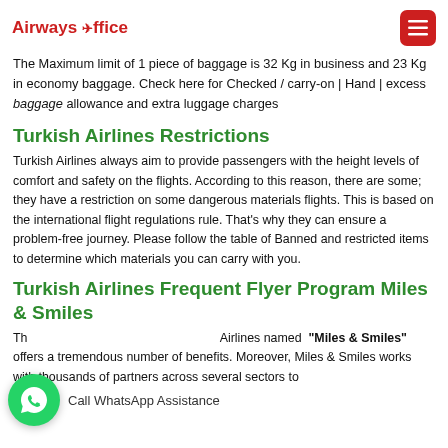Airways Office
The Maximum limit of 1 piece of baggage is 32 Kg in business and 23 Kg in economy baggage. Check here for Checked / carry-on | Hand | excess baggage allowance and extra luggage charges
Turkish Airlines Restrictions
Turkish Airlines always aim to provide passengers with the height levels of comfort and safety on the flights. According to this reason, there are some; they have a restriction on some dangerous materials flights. This is based on the international flight regulations rule. That's why they can ensure a problem-free journey. Please follow the table of Banned and restricted items to determine which materials you can carry with you.
Turkish Airlines Frequent Flyer Program Miles & Smiles
The frequent flyer program of Turkish Airlines named "Miles & Smiles" offers a tremendous number of benefits. Moreover, Miles & Smiles works with thousands of partners across several sectors to